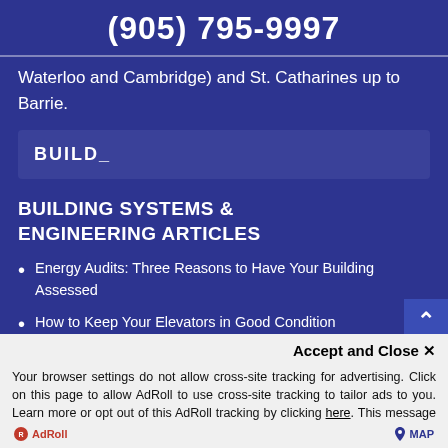(905) 795-9997
Waterloo and Cambridge) and St. Catharines up to Barrie.
BUILD_
BUILDING SYSTEMS & ENGINEERING ARTICLES
Energy Audits: Three Reasons to Have Your Building Assessed
How to Keep Your Elevators in Good Condition
How to Tell if You Need Spa Rep...
Accept and Close ×
Your browser settings do not allow cross-site tracking for advertising. Click on this page to allow AdRoll to use cross-site tracking to tailor ads to you. Learn more or opt out of this AdRoll tracking by clicking here. This message only appears once.